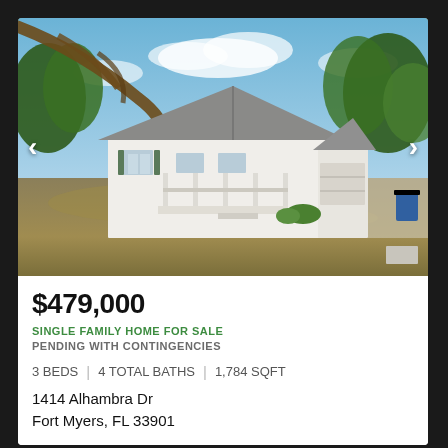[Figure (photo): Exterior photo of a white single-family ranch-style home with a front porch, gray roof, green shutters, a one-car garage, surrounded by trees and a dry grassy lawn. Navigation arrows on left and right sides of the photo.]
$479,000
SINGLE FAMILY HOME FOR SALE
PENDING WITH CONTINGENCIES
3 BEDS  |  4 TOTAL BATHS  |  1,784 SQFT
1414 Alhambra Dr
Fort Myers, FL 33901